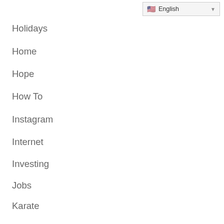[Figure (screenshot): Language selector dropdown showing US flag and 'English' text with dropdown arrow]
Holidays
Home
Hope
How To
Instagram
Internet
Investing
Jobs
Karate
Kids
Laptops